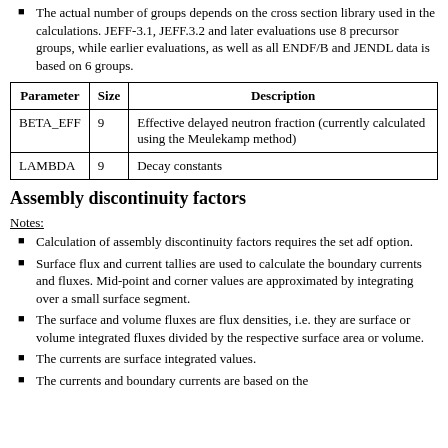The actual number of groups depends on the cross section library used in the calculations. JEFF-3.1, JEFF.3.2 and later evaluations use 8 precursor groups, while earlier evaluations, as well as all ENDF/B and JENDL data is based on 6 groups.
| Parameter | Size | Description |
| --- | --- | --- |
| BETA_EFF | 9 | Effective delayed neutron fraction (currently calculated using the Meulekamp method) |
| LAMBDA | 9 | Decay constants |
Assembly discontinuity factors
Notes:
Calculation of assembly discontinuity factors requires the set adf option.
Surface flux and current tallies are used to calculate the boundary currents and fluxes. Mid-point and corner values are approximated by integrating over a small surface segment.
The surface and volume fluxes are flux densities, i.e. they are surface or volume integrated fluxes divided by the respective surface area or volume.
The currents are surface integrated values.
The currents and boundary currents are based on...